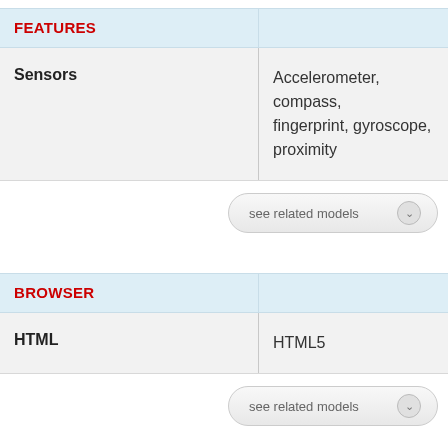FEATURES
|  |  |
| --- | --- |
| Sensors | Accelerometer, compass, fingerprint, gyroscope, proximity |
see related models
BROWSER
|  |  |
| --- | --- |
| HTML | HTML5 |
see related models